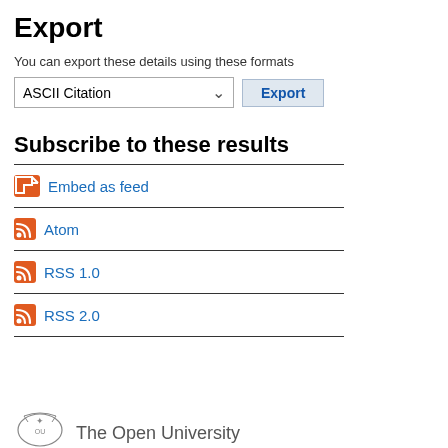Export
You can export these details using these formats
[Figure (screenshot): Dropdown selector showing 'ASCII Citation' with a chevron arrow, and an 'Export' button in blue text on light blue background]
Subscribe to these results
Embed as feed
Atom
RSS 1.0
RSS 2.0
[Figure (logo): The Open University logo with crest icon and text 'The Open University']